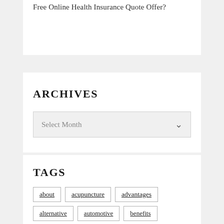Free Online Health Insurance Quote Offer?
ARCHIVES
Select Month
TAGS
about
acupuncture
advantages
alternative
automotive
benefits
better
business
college
coverage
different
division
drugs
education